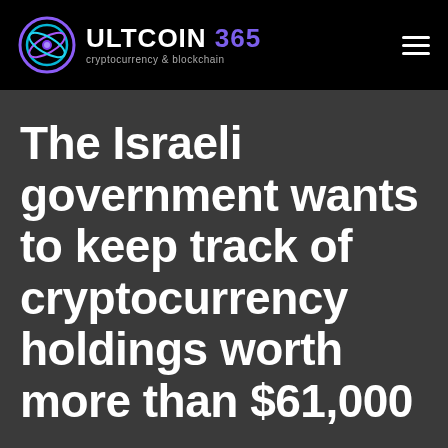ULTCOIN 365 cryptocurrency & blockchain
The Israeli government wants to keep track of cryptocurrency holdings worth more than $61,000